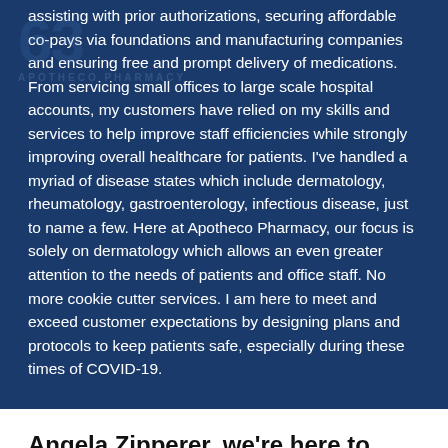assisting with prior authorizations, securing affordable co-pays via foundations and manufacturing companies and ensuring free and prompt delivery of medications. From servicing small offices to large scale hospital accounts, my customers have relied on my skills and services to help improve staff efficiencies while strongly improving overall healthcare for patients. I've handled a myriad of disease states which include dermatology, rheumatology, gastroenterology, infectious disease, just to name a few. Here at Apotheco Pharmacy, our focus is solely on dermatology which allows an even greater attention to the needs of patients and office staff. No more cookie cutter services. I am here to meet and exceed customer expectations by designing plans and protocols to keep patients safe, especially during these times of COVID-19.
Angela Zipperer, we're here to help.
Alleviating Administrative Burdens
By sending scripts to an Apotheco pharmacy, it will drastically lower the amount of call backs to your office as we will work directly with your patients to ensure their medication is covered, address pricing issues and provide alternatives if necessary. Our